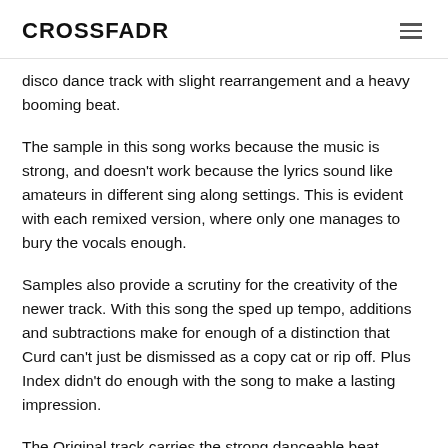CROSSFADR
disco dance track with slight rearrangement and a heavy booming beat.
The sample in this song works because the music is strong, and doesn't work because the lyrics sound like amateurs in different sing along settings. This is evident with each remixed version, where only one manages to bury the vocals enough.
Samples also provide a scrutiny for the creativity of the newer track. With this song the sped up tempo, additions and subtractions make for enough of a distinction that Curd can't just be dismissed as a copy cat or rip off. Plus Index didn't do enough with the song to make a lasting impression.
The Original track carries the strong danceable beat